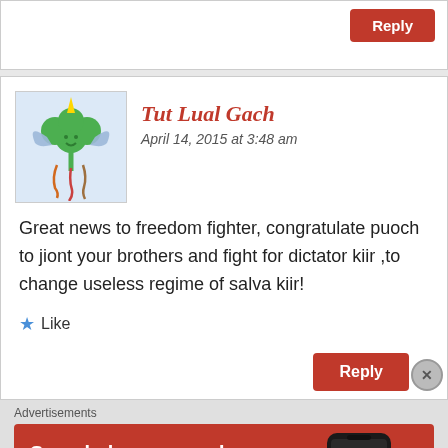[Figure (screenshot): Top of a comment box with a Reply button in red at top right]
Tut Lual Gach
April 14, 2015 at 3:48 am
Great news to freedom fighter, congratulate puoch to jiont your brothers and fight for dictator kiir ,to change useless regime of salva kiir!
Like
Advertisements
[Figure (screenshot): DuckDuckGo advertisement banner: Search, browse, and email with more privacy. All in One Free App. Shows a smartphone with DuckDuckGo logo.]